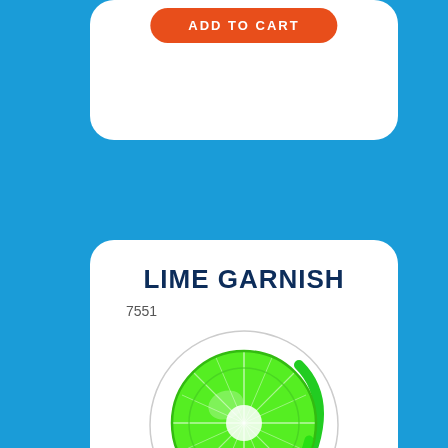ADD TO CART
LIME GARNISH
7551
[Figure (illustration): A sliced lime garnish viewed from above, showing bright green citrus flesh with white center, inside a circular border with a green swoosh accent]
$9.85
ADD TO CART